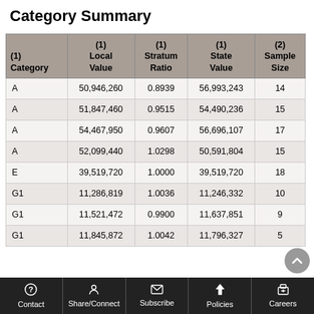Category Summary
| (1) Category | (1) Local Value | (1) Stratum Ratio | (1) State Value | (2) Sample Size |
| --- | --- | --- | --- | --- |
| A | 50,946,260 | 0.8939 | 56,993,243 | 14 |
| A | 51,847,460 | 0.9515 | 54,490,236 | 15 |
| A | 54,467,950 | 0.9607 | 56,696,107 | 17 |
| A | 52,099,440 | 1.0298 | 50,591,804 | 15 |
| E | 39,519,720 | 1.0000 | 39,519,720 | 18 |
| G1 | 11,286,819 | 1.0036 | 11,246,332 | 10 |
| G1 | 11,521,472 | 0.9900 | 11,637,851 | 9 |
| G1 | 11,845,872 | 1.0042 | 11,796,327 | 5 |
Contact | Share/Connect | Subscribe | Policies | Careers